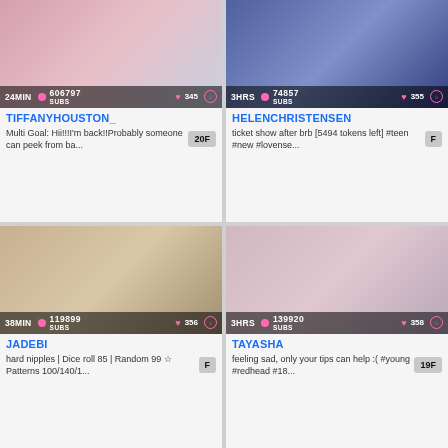[Figure (photo): Thumbnail of TIFFANYHOUSTON_ with overlay showing 24MIN, 606797 SUBS, heart 345, eye icon]
TIFFANYHOUSTON_
Multi Goal: Hii!!!I'm back!!Probably someone can peek from ba...
20F
[Figure (photo): Thumbnail of HELENCHRISTENSEN with overlay showing 3HRS, 74857 SUBS, heart 355, eye icon]
HELENCHRISTENSEN
ticket show after brb [5494 tokens left] #teen #new #lovense...
F
[Figure (photo): Thumbnail of JADEBI with overlay showing 38MIN, 119899 SUBS, heart 356, eye icon]
JADEBI
hard nipples | Dice roll 85 | Random 99 ☆ Patterns 100/140/1...
F
[Figure (photo): Thumbnail of TAYASHA with overlay showing 3HRS, 139920 SUBS, heart 358, eye icon]
TAYASHA
feeling sad, only your tips can help :( #young #redhead #18...
19F